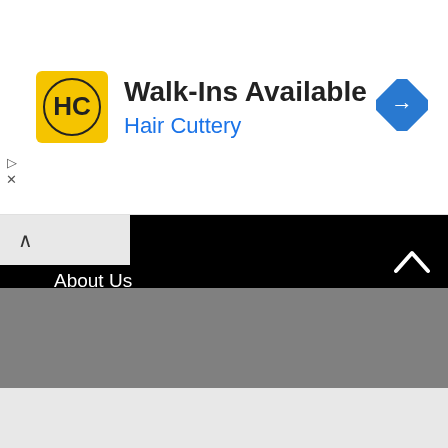[Figure (screenshot): Hair Cuttery advertisement banner with logo, 'Walk-Ins Available' headline, and blue navigation arrow icon]
About Us
Contact Us
Privacy Policy
Disclaimer
More Useful Links
Science & Technology
Environment & Nature
Lifestyle & Health